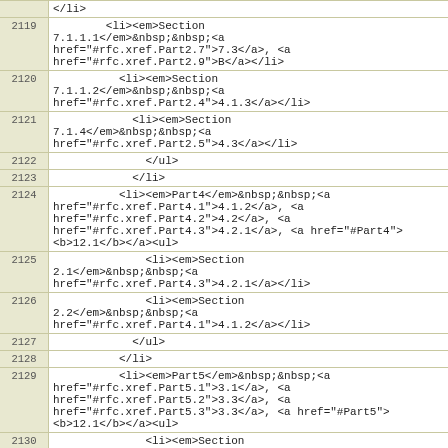| line | code |
| --- | --- |
|  | </li> |
| 2119 | <li><em>Section 7.1.1.1</em>&nbsp;&nbsp;<a href="#rfc.xref.Part2.7">7.3</a>, <a href="#rfc.xref.Part2.9">B</a></li> |
| 2120 | <li><em>Section 7.1.1.2</em>&nbsp;&nbsp;<a href="#rfc.xref.Part2.4">4.1.3</a></li> |
| 2121 | <li><em>Section 7.1.4</em>&nbsp;&nbsp;<a href="#rfc.xref.Part2.5">4.3</a></li> |
| 2122 | </ul> |
| 2123 | </li> |
| 2124 | <li><em>Part4</em>&nbsp;&nbsp;<a href="#rfc.xref.Part4.1">4.1.2</a>, <a href="#rfc.xref.Part4.2">4.2</a>, <a href="#rfc.xref.Part4.3">4.2.1</a>, <a href="#Part4"><b>12.1</b></a><ul> |
| 2125 | <li><em>Section 2.1</em>&nbsp;&nbsp;<a href="#rfc.xref.Part4.3">4.2.1</a></li> |
| 2126 | <li><em>Section 2.2</em>&nbsp;&nbsp;<a href="#rfc.xref.Part4.1">4.1.2</a></li> |
| 2127 | </ul> |
| 2128 | </li> |
| 2129 | <li><em>Part5</em>&nbsp;&nbsp;<a href="#rfc.xref.Part5.1">3.1</a>, <a href="#rfc.xref.Part5.2">3.3</a>, <a href="#rfc.xref.Part5.3">3.3</a>, <a href="#Part5"><b>12.1</b></a><ul> |
| 2130 | <li><em>Section 4.3</em>&nbsp;&nbsp;<a href="#rfc.xref.Part5.3">3.3</a></li> |
| 2131 | </ul> |